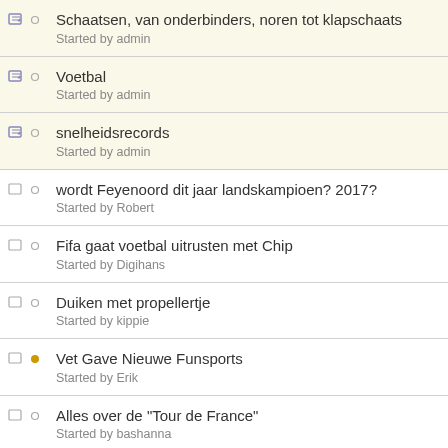Schaatsen, van onderbinders, noren tot klapschaats
Started by admin
Voetbal
Started by admin
snelheidsrecords
Started by admin
wordt Feyenoord dit jaar landskampioen? 2017?
Started by Robert
Fifa gaat voetbal uitrusten met Chip
Started by Digihans
Duiken met propellertje
Started by kippie
Vet Gave Nieuwe Funsports
Started by Erik
Alles over de "Tour de France"
Started by bashanna
Spyker verwacht winst door overname F1-team